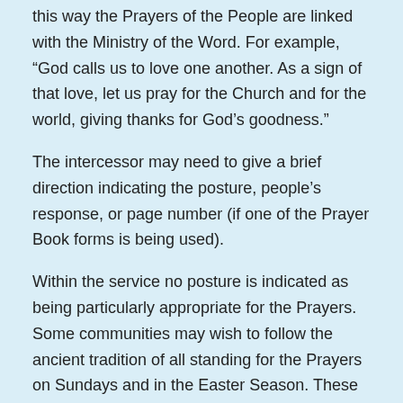this way the Prayers of the People are linked with the Ministry of the Word. For example, “God calls us to love one another. As a sign of that love, let us pray for the Church and for the world, giving thanks for God’s goodness.”
The intercessor may need to give a brief direction indicating the posture, people’s response, or page number (if one of the Prayer Book forms is being used).
Within the service no posture is indicated as being particularly appropriate for the Prayers. Some communities may wish to follow the ancient tradition of all standing for the Prayers on Sundays and in the Easter Season. These might kneel on weekdays, particularly in Lent. Such communities might then be seated for the Preparation of the Gifts before standing again for the Great Thanksgiving. Other communities may choose to kneel or sit for the Prayers, in which case the presider’s concluding collect can alert them to stand for the Peace.